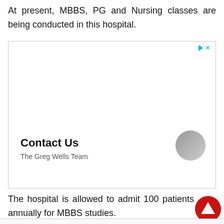At present, MBBS, PG and Nursing classes are being conducted in this hospital.
[Figure (other): Advertisement box with 'Contact Us' heading and 'The Greg Wells Team' subtitle, with a play and close button at top right and a circular avatar image at bottom right.]
The hospital is allowed to admit 100 patients annually for MBBS studies.